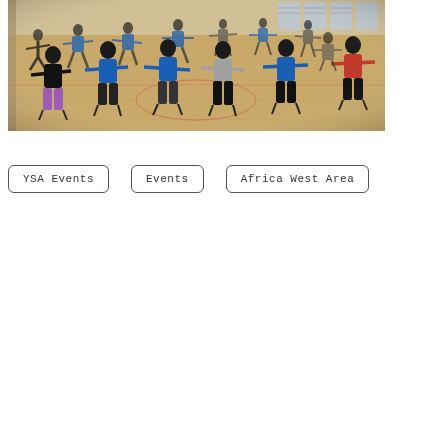[Figure (photo): A wide photograph of a gymnasium with many people doing a group fitness or dance activity. People are spread across the wooden floor in various poses with arms outstretched. Some wear blue tops. Windows and bleachers are visible in the background.]
YSA Events
Events
Africa West Area